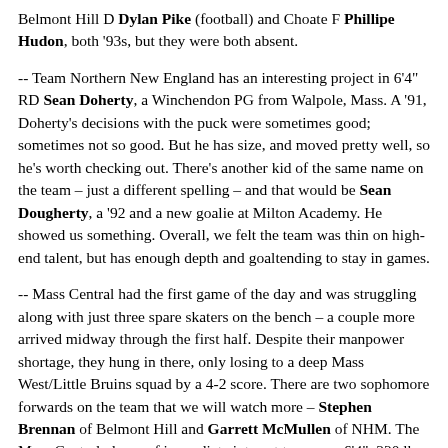Belmont Hill D Dylan Pike (football) and Choate F Phillipe Hudon, both '93s, but they were both absent.
-- Team Northern New England has an interesting project in 6'4" RD Sean Doherty, a Winchendon PG from Walpole, Mass. A '91, Doherty's decisions with the puck were sometimes good; sometimes not so good. But he has size, and moved pretty well, so he's worth checking out. There's another kid of the same name on the team – just a different spelling – and that would be Sean Dougherty, a '92 and a new goalie at Milton Academy. He showed us something. Overall, we felt the team was thin on high-end talent, but has enough depth and goaltending to stay in games.
-- Mass Central had the first game of the day and was struggling along with just three spare skaters on the bench – a couple more arrived midway through the first half. Despite their manpower shortage, they hung in there, only losing to a deep Mass West/Little Bruins squad by a 4-2 score. There are two sophomore forwards on the team that we will watch more – Stephen Brennan of Belmont Hill and Garrett McMullen of NHM. The Mass Central player of immediate interest to us was 6'4", 220 lb. LD Bryan Felice, a '91 senior at Hebron. Felice, a physical specimen, has good feet for his size and a long stride with power. He looks like a guy a Div. I school might commit to and then pack off to a top junior program for refinement.